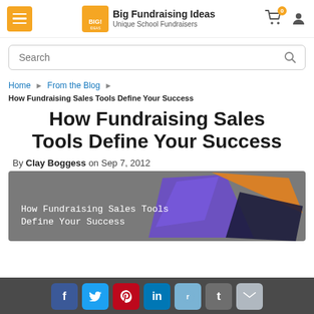Big Fundraising Ideas — Unique School Fundraisers
Search
Home ▶ From the Blog ▶ How Fundraising Sales Tools Define Your Success
How Fundraising Sales Tools Define Your Success
By Clay Boggess on Sep 7, 2012
[Figure (illustration): Featured blog post image with text overlay reading 'How Fundraising Sales Tools Define Your Success' on a gray background with geometric colorful shapes (purple, orange, dark blue).]
Social share buttons: Facebook, Twitter, Pinterest, LinkedIn, Reddit, Tumblr, Email